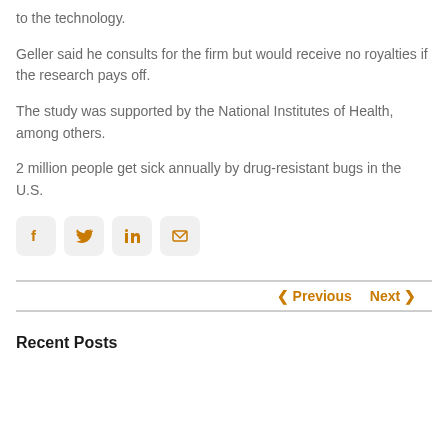to the technology.
Geller said he consults for the firm but would receive no royalties if the research pays off.
The study was supported by the National Institutes of Health, among others.
2 million people get sick annually by drug-resistant bugs in the U.S.
[Figure (other): Social share icons: Facebook, Twitter, LinkedIn, Email]
< Previous   Next >
Recent Posts